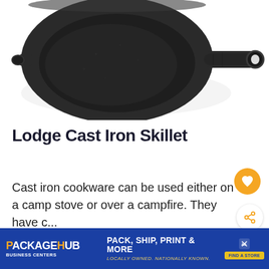[Figure (photo): A cast iron skillet photographed from above on a white background. The dark black/gray skillet has a round pan body with a long handle and a small helper handle on the opposite side.]
Lodge Cast Iron Skillet
Cast iron cookware can be used either on a camp stove or over a campfire. They have c...
[Figure (other): Orange circular heart/favorite button icon]
[Figure (other): White circular share button icon]
[Figure (other): PackageHub Business Centers advertisement banner — PACK, SHIP, PRINT & MORE, LOCALLY OWNED. NATIONALLY KNOWN. FIND A STORE.]